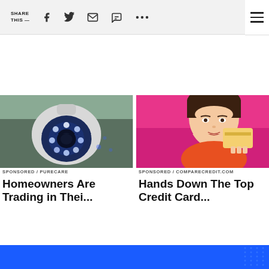SHARE THIS —
[Figure (photo): Security camera with blue LED ring lights, white body with dark accent, mounted on ceiling]
SPONSORED / PURECARE
Homeowners Are Trading in Thei...
[Figure (photo): Young woman with brown hair and bangs, wearing orange, smiling, holding a gold credit card, against pink background]
SPONSORED / COMPARECREDIT.COM
Hands Down The Top Credit Card...